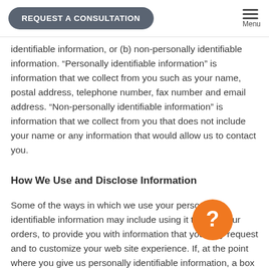REQUEST A CONSULTATION  Menu
identifiable information, or (b) non-personally identifiable information. "Personally identifiable information" is information that we collect from you such as your name, postal address, telephone number, fax number and email address. "Non-personally identifiable information" is information that we collect from you that does not include your name or any information that would allow us to contact you.
How We Use and Disclose Information
Some of the ways in which we use your personally identifiable information may include using it to fulfill your orders, to provide you with information that you may request and to customize your web site experience. If, at the point where you give us personally identifiable information, a box is checked indicating that you would like to receive information about special offers and promotions, then